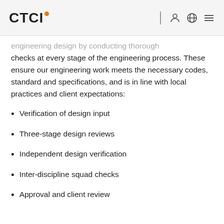CTCI
engineering design by conducting thorough checks at every stage of the engineering process. These ensure our engineering work meets the necessary codes, standard and specifications, and is in line with local practices and client expectations:
Verification of design input
Three-stage design reviews
Independent design verification
Inter-discipline squad checks
Approval and client review